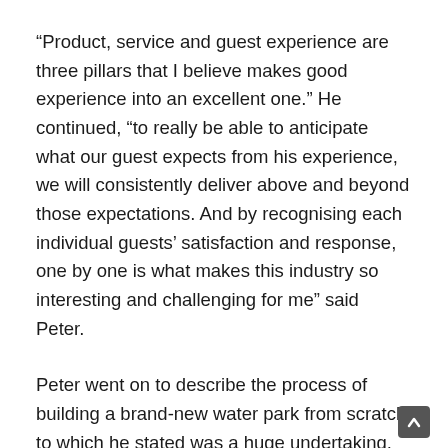“Product, service and guest experience are three pillars that I believe makes good experience into an excellent one.” He continued, “to really be able to anticipate what our guest expects from his experience, we will consistently deliver above and beyond those expectations. And by recognising each individual guests’ satisfaction and response, one by one is what makes this industry so interesting and challenging for me” said Peter.
Peter went on to describe the process of building a brand-new water park from scratch, to which he stated was a huge undertaking. “It all starts with a team of designers that understand body movements and flow thereby having the guest experience their spills and thrills without injury, whi is the key!” “Only now we can begin to piece it together.” He